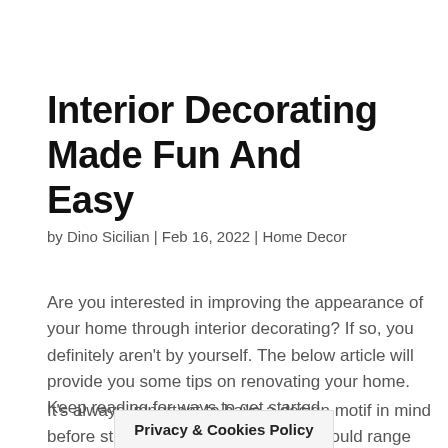Interior Decorating Made Fun And Easy
by Dino Sicilian | Feb 16, 2022 | Home Decor
Are you interested in improving the appearance of your home through interior decorating? If so, you definitely aren't by yourself. The below article will provide you some tips on renovating your home. Keep reading for ways to get started.
It's always important to have a design motif in mind before starting on designing. Moods could range from exciting and outrage...
Privacy & Cookies Policy